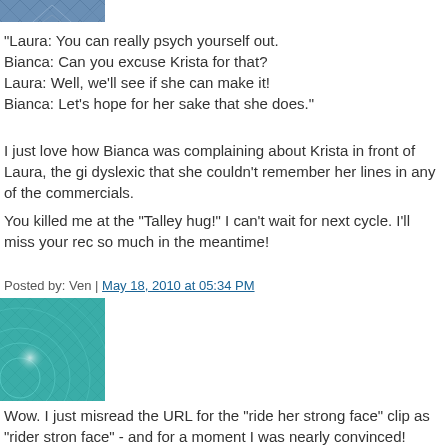[Figure (photo): Top portion of a decorative avatar image with blue geometric pattern]
"Laura: You can really psych yourself out.
Bianca: Can you excuse Krista for that?
Laura: Well, we'll see if she can make it!
Bianca: Let's hope for her sake that she does."
I just love how Bianca was complaining about Krista in front of Laura, the gi dyslexic that she couldn't remember her lines in any of the commercials.
You killed me at the "Talley hug!" I can't wait for next cycle. I'll miss your rec so much in the meantime!
Posted by: Ven | May 18, 2010 at 05:34 PM
[Figure (photo): Teal/green geometric grid pattern avatar image]
Wow. I just misread the URL for the "ride her strong face" clip as "rider stron face" - and for a moment I was nearly convinced!
Rider Strong face: almost! http://www.vivianreed.net/BMW/media/rider07.jpg
Also, in that shot, Alexandra looks exactly like the overeager redheaded guy really wants to dance with Winona Ryder in the scenes at Belle Gardiner's engagement party in the 1994 Little Women. at least, that's who I immediate thought of. Just my two cents, yep.